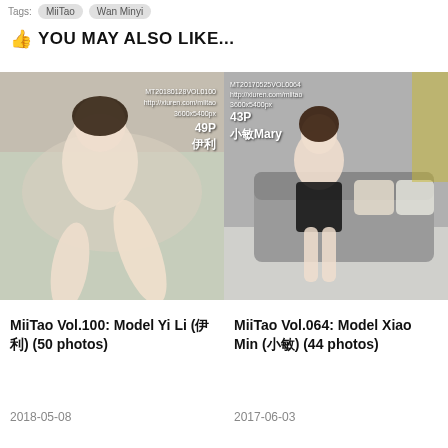Tags: MiiTao  Wan Minyi
👍 YOU MAY ALSO LIKE...
[Figure (photo): Left: MiiTao photo set thumbnail showing model Yi Li (伊利) on a bed in white lingerie. Watermark text 'MIИТАО' and overlay text: MT20180128VOL0100, 49P, 伊利]
[Figure (photo): Right: MiiTao photo set thumbnail showing model Xiao Min Mary (小敏Mary) sitting on grey sofa in black dress. Watermark text 'MIИТАО' and overlay text: MT20170525VOL0064, 43P, 小敏Mary]
MiiTao Vol.100: Model Yi Li (伊利) (50 photos)
MiiTao Vol.064: Model Xiao Min (小敏) (44 photos)
2018-05-08
2017-06-03